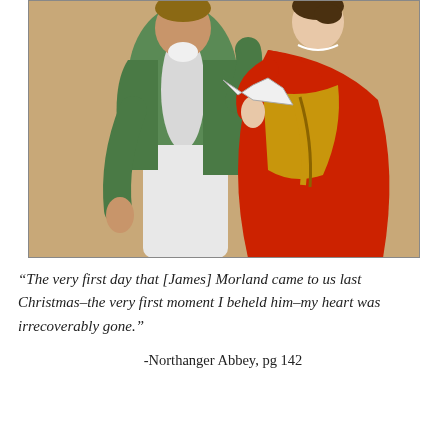[Figure (illustration): A colored pencil illustration of a Regency-era couple. A man in a green coat and white breeches stands on the left, and a woman in a red dress with gold trim and sash stands on the right holding a fan.]
“The very first day that [James] Morland came to us last Christmas–the very first moment I beheld him–my heart was irrecoverably gone.”
-Northanger Abbey, pg 142